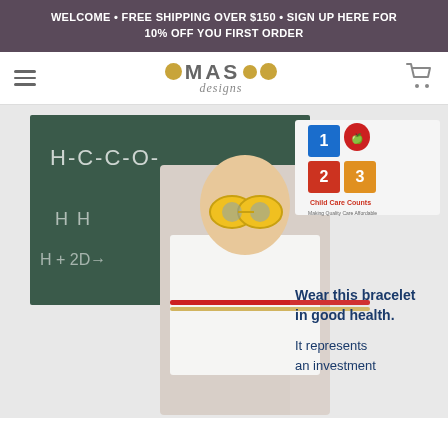WELCOME • FREE SHIPPING OVER $150 • SIGN UP HERE FOR 10% OFF YOU FIRST ORDER
[Figure (logo): MAS Designs logo with gold dots and script text]
[Figure (photo): Child wearing yellow goggles in front of a chalkboard with chemistry formulas, holding a red pencil, with a bracelet shown. Text overlay reads: Wear this bracelet in good health. It represents an investment. Logo for 1-2-3 Child Care Counts visible in upper right.]